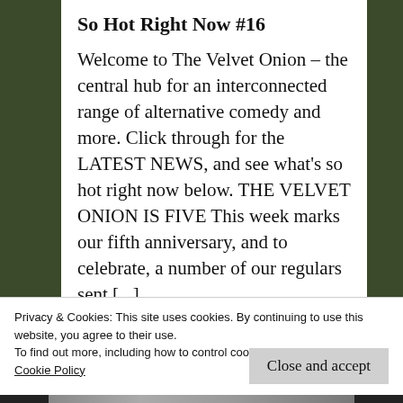So Hot Right Now #16
Welcome to The Velvet Onion – the central hub for an interconnected range of alternative comedy and more. Click through for the LATEST NEWS, and see what's so hot right now below. THE VELVET ONION IS FIVE This week marks our fifth anniversary, and to celebrate, a number of our regulars sent […]
Privacy & Cookies: This site uses cookies. By continuing to use this website, you agree to their use.
To find out more, including how to control cookies, see here: Cookie Policy
Close and accept